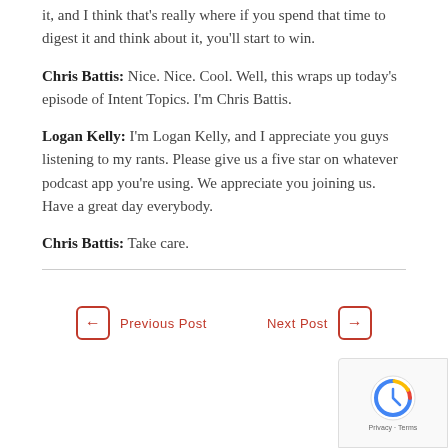it, and I think that's really where if you spend that time to digest it and think about it, you'll start to win.
Chris Battis: Nice. Nice. Cool. Well, this wraps up today's episode of Intent Topics. I'm Chris Battis.
Logan Kelly: I'm Logan Kelly, and I appreciate you guys listening to my rants. Please give us a five star on whatever podcast app you're using. We appreciate you joining us. Have a great day everybody.
Chris Battis: Take care.
← Previous Post   Next Post →